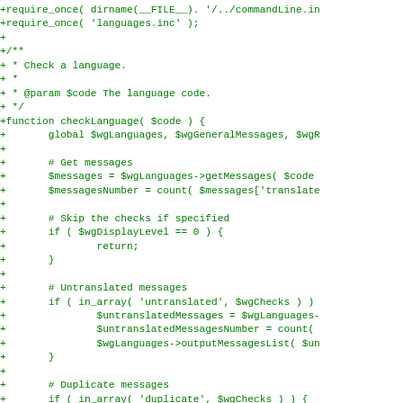[Figure (screenshot): A code diff snippet showing PHP source code additions (lines beginning with '+') in green monospace font on white background. The code shows a function checkLanguage($code) with logic for getting messages, skipping checks, handling untranslated messages, and duplicate messages.]